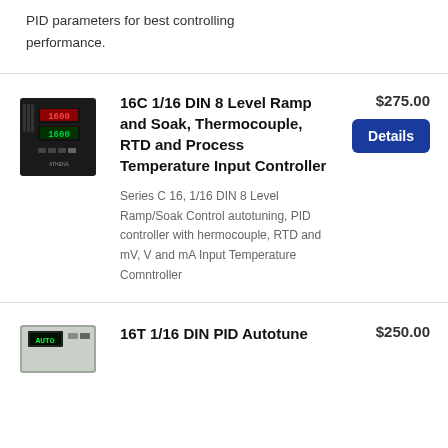PID parameters for best controlling performance.
[Figure (photo): Black temperature controller device (ATHENA brand) with red and green LED displays showing 1600, front panel view]
16C 1/16 DIN 8 Level Ramp and Soak, Thermocouple, RTD and Process Temperature Input Controller
$275.00
Details
Series C 16, 1/16 DIN 8 Level Ramp/Soak Control autotuning, PID controller with hermocouple, RTD and mV, V and mA Input Temperature Comntroller
[Figure (photo): Light-colored temperature controller device, partial view at bottom of page]
16T 1/16 DIN PID Autotune
$250.00